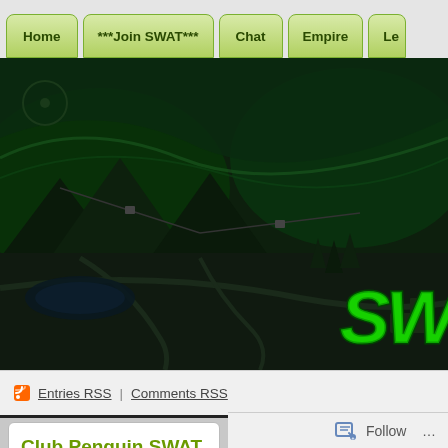Home | ***Join SWAT*** | Chat | Empire | Le...
[Figure (illustration): Club Penguin SWAT Army website banner showing a dark green Club Penguin map landscape with the green SWAT logo text in the bottom right]
Entries RSS | Comments RSS
Club Penguin SWAT Army
[Figure (illustration): Club Penguin penguin character wearing gray helmet with green goggles]
🔵[UK] Operation: Fill the Roo...
Posted on May 28, 2022 by thatsmrlegoman
⚙️ Attention agents:
Today was an absolutely stellar day for th... Tactics Army of Club Penguin. Today, Ma...
Follow ...